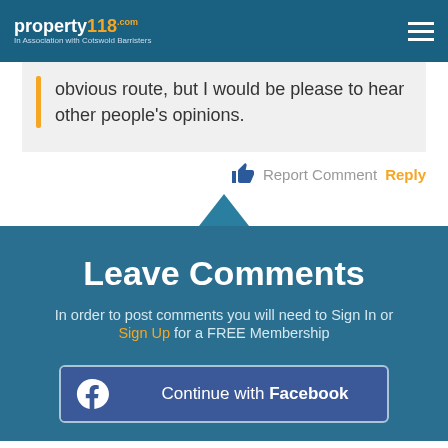property118.com — In Association with Cotswold Barristers
obvious route, but I would be please to hear other people's opinions.
Report Comment  Reply
Leave Comments
In order to post comments you will need to Sign In or Sign Up for a FREE Membership
Continue with Facebook